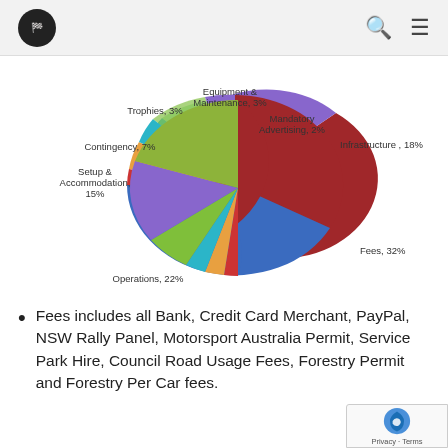[Logo] [Search] [Menu]
[Figure (pie-chart): ]
Fees includes all Bank, Credit Card Merchant, PayPal, NSW Rally Panel, Motorsport Australia Permit, Service Park Hire, Council Road Usage Fees, Forestry Permit and Forestry Per Car fees.